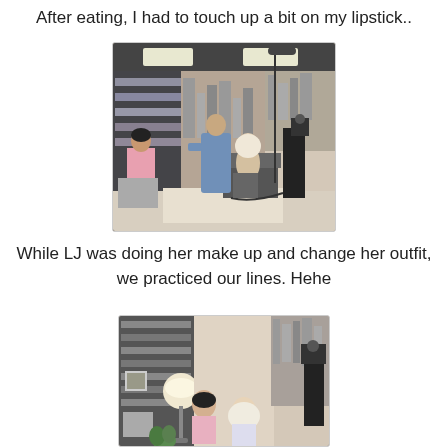After eating, I had to touch up a bit on my lipstick..
[Figure (photo): Behind-the-scenes filming scene in a room with bookshelves. Two crew members with camera and boom mic, a woman in hijab seated on a sofa, and a woman in pink on the left.]
While LJ was doing her make up and change her outfit, we practiced our lines. Hehe
[Figure (photo): Room with bookshelves wallpaper, a standing lamp, two women seated, and a camera crew member on the right.]